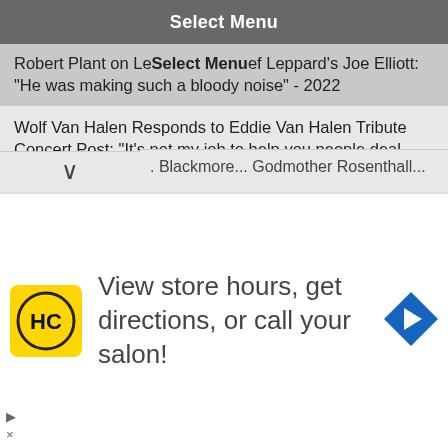Select Menu
Robert Plant on Le... ef Leppard's Joe Elliott: "He was making such a bloody noise" - 2022
Wolf Van Halen Responds to Eddie Van Halen Tribute Concert Post: "It's not my job to help you people deal with my dad dying"
Don Dokken & Paul Shortino Remember Dio's Hear N' Aid Project: "Next door was Rob Halford's room..." - VIDEO/INTERVIEW
Poison: Indianapolis Concert at Lucas Oil Stadium – TOUR 2022 – PHOTOS/VIDEO/PICS – Fan Review
Mötley Crüe: Man Falls from Balcony at Lucas Oil Stadium, Indianapolis, IN - 2022 TOUR - PHOTOS/VIDEO - Highlights
View store hours, get directions, or call your salon!